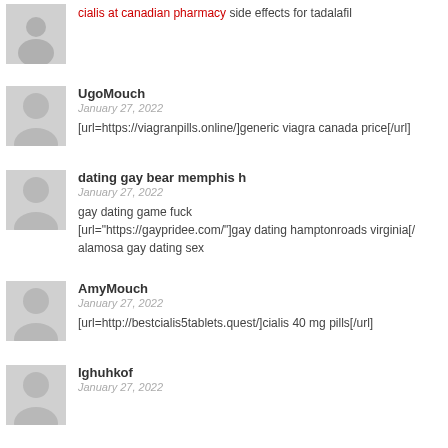cialis at canadian pharmacy side effects for tadalafil
UgoMouch
January 27, 2022
[url=https://viagranpills.online/]generic viagra canada price[/url]
dating gay bear memphis h
January 27, 2022
gay dating game fuck
[url="https://gaypridee.com/"]gay dating hamptonroads virginia[/
alamosa gay dating sex
AmyMouch
January 27, 2022
[url=http://bestcialis5tablets.quest/]cialis 40 mg pills[/url]
Ighuhkof
January 27, 2022